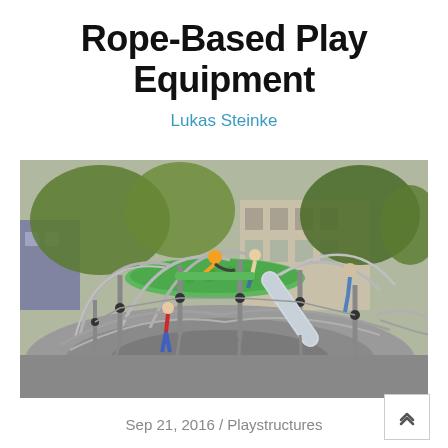Rope-Based Play Equipment
Lukas Steinke
[Figure (photo): Outdoor rope-based playground equipment with children and adults climbing on a large steel and rope structure with green accents, set in an urban park with trees and apartment buildings in background.]
Sep 21, 2016 / Playstructures